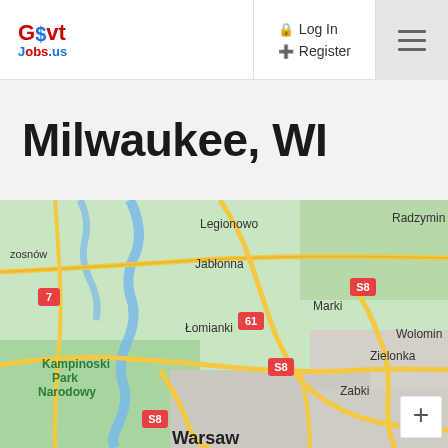GovtJobs.us
Log In
Register
Milwaukee, WI
[Figure (map): Google Maps view showing Warsaw area, Poland, with locations including Radzymin, Legionowo, Jabłonna, Łomianki, Kampinoski Park Narodowy, Marki, Wolomin, Zielonka, Zabki, Warsaw, and road markers S8, S8, 61, 7]